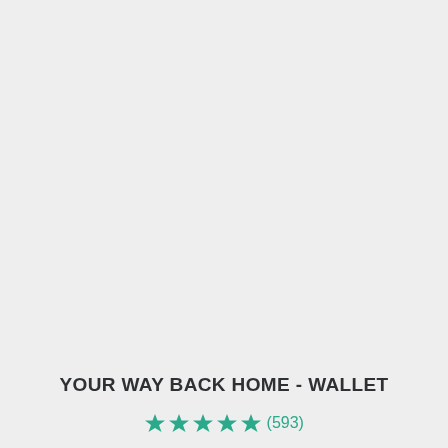YOUR WAY BACK HOME - WALLET
★★★★★ (593)